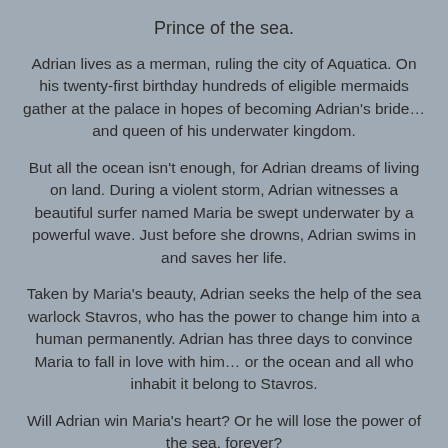Prince of the sea.
Adrian lives as a merman, ruling the city of Aquatica. On his twenty-first birthday hundreds of eligible mermaids gather at the palace in hopes of becoming Adrian's bride… and queen of his underwater kingdom.
But all the ocean isn't enough, for Adrian dreams of living on land. During a violent storm, Adrian witnesses a beautiful surfer named Maria be swept underwater by a powerful wave. Just before she drowns, Adrian swims in and saves her life.
Taken by Maria's beauty, Adrian seeks the help of the sea warlock Stavros, who has the power to change him into a human permanently. Adrian has three days to convince Maria to fall in love with him… or the ocean and all who inhabit it belong to Stavros.
Will Adrian win Maria's heart? Or he will lose the power of the sea, forever?